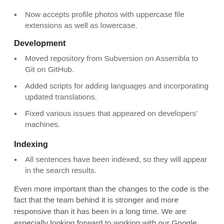Now accepts profile photos with uppercase file extensions as well as lowercase.
Development
Moved repository from Subversion on Assembla to Git on GitHub.
Added scripts for adding languages and incorporating updated translations.
Fixed various issues that appeared on developers' machines.
Indexing
All sentences have been indexed, so they will appear in the search results.
Even more important than the changes to the code is the fact that the team behind it is stronger and more responsive than it has been in a long time. We are especially looking forward to working with our Google Summer of Code participants.